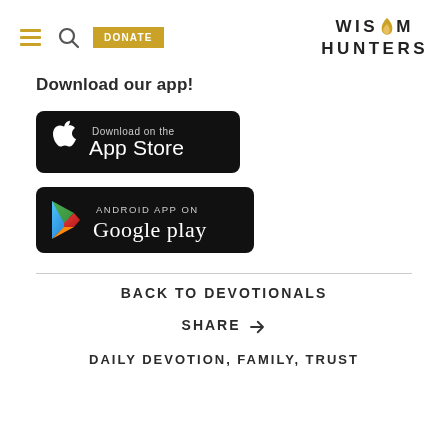WISDOM HUNTERS
Download our app!
[Figure (screenshot): Download on the App Store badge (black rounded rectangle with Apple logo and text)]
[Figure (screenshot): Android App on Google Play badge (black rounded rectangle with Google Play triangle logo and text)]
BACK TO DEVOTIONALS
SHARE
DAILY DEVOTION, FAMILY, TRUST